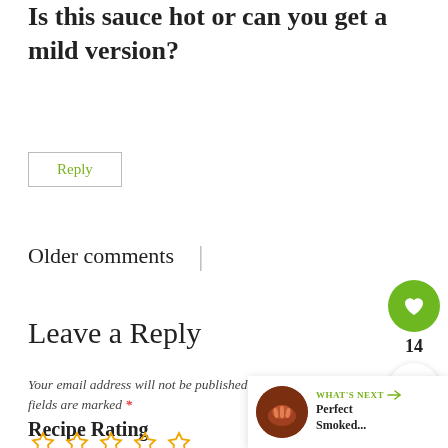Is this sauce hot or can you get a mild version?
Reply
Older comments
Leave a Reply
Your email address will not be published. Required fields are marked *
Recipe Rating
[Figure (other): Five empty star rating icons in orange/gold outline]
[Figure (infographic): Floating social widget with green heart button showing 14 likes, and a share button]
[Figure (other): What's Next card showing a thumbnail of smoked food and text 'Perfect Smoked...']